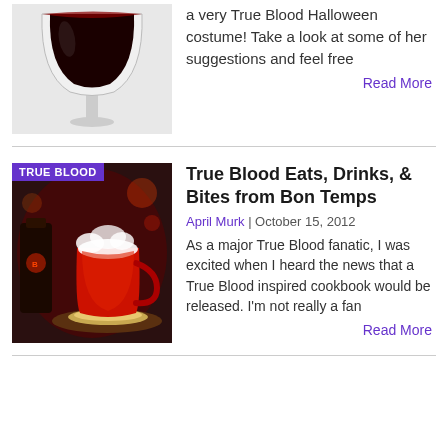[Figure (photo): A glass with dark red liquid (blood-like drink) on a white background]
a very True Blood Halloween costume!  Take a look at some of her suggestions and feel free
Read More
[Figure (photo): A red glowing drink in a mug with smoke/fog effect, with TRUE BLOOD badge overlay]
True Blood Eats, Drinks, & Bites from Bon Temps
April Murk | October 15, 2012
As a major True Blood fanatic, I was excited when I heard the news that a True Blood inspired cookbook would be released. I'm not really a fan
Read More